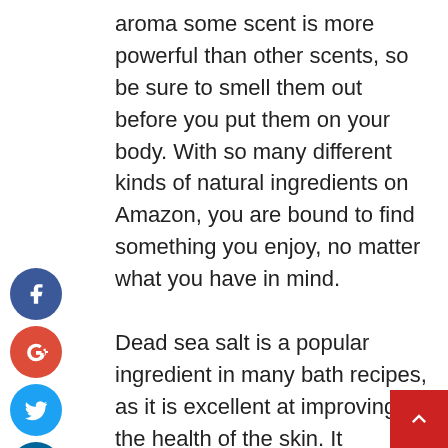aroma some scent is more powerful than other scents, so be sure to smell them out before you put them on your body. With so many different kinds of natural ingredients on Amazon, you are bound to find something you enjoy, no matter what you have in mind. Dead sea salt is a popular ingredient in many bath recipes, as it is excellent at improving the health of the skin. It contains many minerals such as calcium, magnesium, potassium, iron, zinc, and manganese. It also contains many different vitamins including vitamin B complex, vitamin C, vitamin D, and vitamin E. Dead Sea salt has been shown to improve circulation, increase blood pressure, reduce cholesterol, and even lower blood sugar. If you want to save money, you should take advantage of the many